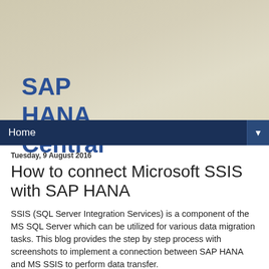SAP HANA Central
Home
Tuesday, 9 August 2016
How to connect Microsoft SSIS with SAP HANA
SSIS (SQL Server Integration Services) is a component of the MS SQL Server which can be utilized for various data migration tasks. This blog provides the step by step process with screenshots to implement a connection between SAP HANA and MS SSIS to perform data transfer.
Tools Required
HANA Studio.
MS Visual Studio